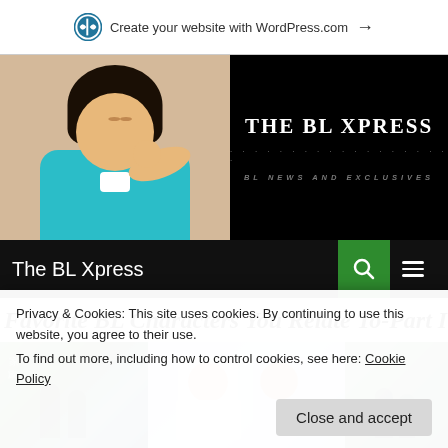Create your website with WordPress.com →
[Figure (photo): Website header banner for The BL Xpress blog. Left half shows a photo of a young Asian man smiling, wearing a teal cardigan. Right half is black background with 'THE BL XPRESS' title and 'BL NEWS AND EXCLUSIVES' subtitle.]
THE BL XPRESS
BL NEWS AND EXCLUSIVES
The BL Xpress
Favorite BL Characters You Relate To-Part I
[Figure (photo): Three partial thumbnail images from BL drama articles shown in a strip.]
Privacy & Cookies: This site uses cookies. By continuing to use this website, you agree to their use.
To find out more, including how to control cookies, see here: Cookie Policy
Close and accept